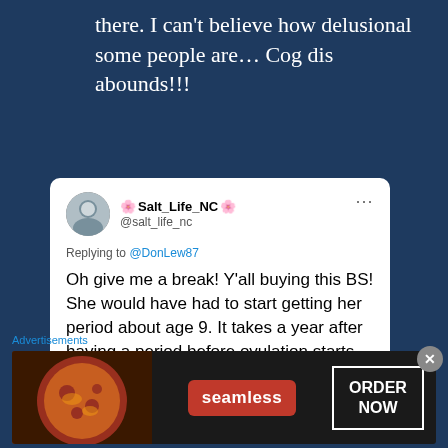there. I can't believe how delusional some people are… Cog dis abounds!!!
[Figure (screenshot): Tweet screenshot from Salt_Life_NC (@salt_life_nc) replying to @DonLew87: Oh give me a break! Y'all buying this BS! She would have had to start getting her period about age 9. It takes a year after having a period before ovulation starts and most girls start periods at 11-13.]
I doubt this idiot is a doctor, but my
Advertisements
[Figure (screenshot): Seamless food delivery advertisement with pizza image, Seamless logo, and ORDER NOW button]